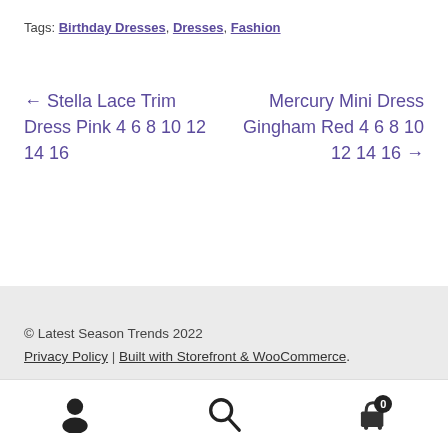Tags: Birthday Dresses, Dresses, Fashion
← Stella Lace Trim Dress Pink 4 6 8 10 12 14 16
Mercury Mini Dress Gingham Red 4 6 8 10 12 14 16 →
© Latest Season Trends 2022
Privacy Policy | Built with Storefront & WooCommerce.